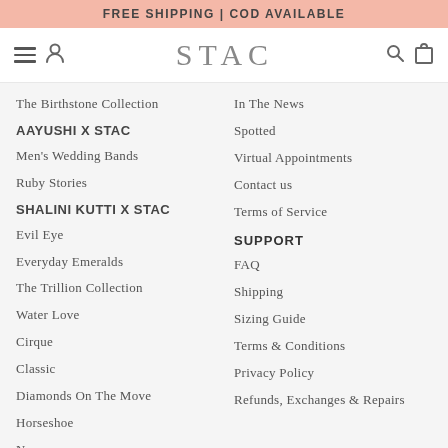FREE SHIPPING | COD AVAILABLE
STAC
The Birthstone Collection
AAYUSHI X STAC
Men's Wedding Bands
Ruby Stories
SHALINI KUTTI X STAC
Evil Eye
Everyday Emeralds
The Trillion Collection
Water Love
Cirque
Classic
Diamonds On The Move
Horseshoe
Naam
Charm Your Way
In The News
Spotted
Virtual Appointments
Contact us
Terms of Service
SUPPORT
FAQ
Shipping
Sizing Guide
Terms & Conditions
Privacy Policy
Refunds, Exchanges & Repairs